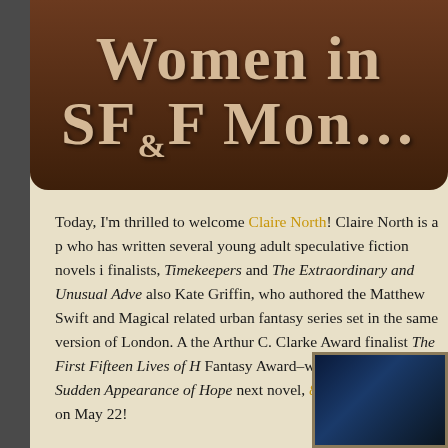[Figure (illustration): Women in SF&F Month banner with decorative text on dark brown rounded banner background]
Today, I'm thrilled to welcome Claire North! Claire North is a p who has written several young adult speculative fiction novels i finalists, Timekeepers and The Extraordinary and Unusual Adve also Kate Griffin, who authored the Matthew Swift and Magical related urban fantasy series set in the same version of London. A the Arthur C. Clarke Award finalist The First Fifteen Lives of H Fantasy Award–winning novel The Sudden Appearance of Hope next novel, 84K, will be released on May 22!
[Figure (photo): Partial book cover image in bottom right corner, dark blue background with partial frame visible]